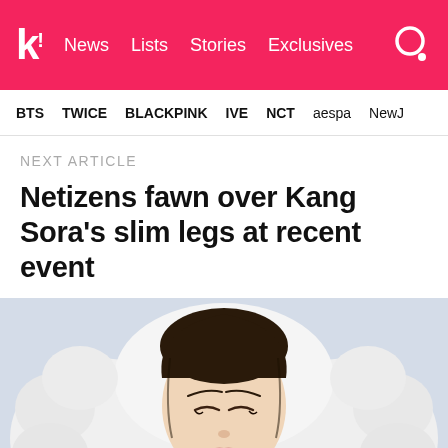k! News Lists Stories Exclusives [search]
BTS TWICE BLACKPINK IVE NCT aespa NewJ
NEXT ARTICLE
Netizens fawn over Kang Sora's slim legs at recent event
[Figure (photo): Close-up portrait of a young East Asian woman with closed eyes, wearing a white fur-trimmed hood/jacket, against a light gray background]